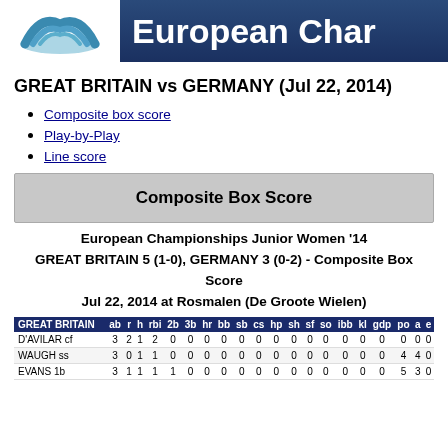European Char
GREAT BRITAIN vs GERMANY (Jul 22, 2014)
Composite box score
Play-by-Play
Line score
Composite Box Score
European Championships Junior Women '14
GREAT BRITAIN 5 (1-0), GERMANY 3 (0-2) - Composite Box Score
Jul 22, 2014 at Rosmalen (De Groote Wielen)
| GREAT BRITAIN | ab | r | h | rbi | 2b | 3b | hr | bb | sb | cs | hp | sh | sf | so | ibb | kl | gdp | po | a | e |
| --- | --- | --- | --- | --- | --- | --- | --- | --- | --- | --- | --- | --- | --- | --- | --- | --- | --- | --- | --- | --- |
| D'AVILAR cf | 3 | 2 | 1 | 2 | 0 | 0 | 0 | 0 | 0 | 0 | 0 | 0 | 0 | 0 | 0 | 0 | 0 | 0 | 0 | 0 |
| WAUGH ss | 3 | 0 | 1 | 1 | 0 | 0 | 0 | 0 | 0 | 0 | 0 | 0 | 0 | 0 | 0 | 0 | 0 | 4 | 4 | 0 |
| EVANS 1b | 3 | 1 | 1 | 1 | 1 | 0 | 0 | 0 | 0 | 0 | 0 | 0 | 0 | 0 | 0 | 0 | 0 | 5 | 3 | 0 |